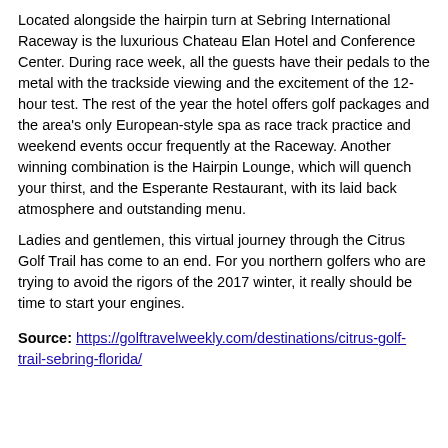Located alongside the hairpin turn at Sebring International Raceway is the luxurious Chateau Elan Hotel and Conference Center. During race week, all the guests have their pedals to the metal with the trackside viewing and the excitement of the 12-hour test. The rest of the year the hotel offers golf packages and the area's only European-style spa as race track practice and weekend events occur frequently at the Raceway. Another winning combination is the Hairpin Lounge, which will quench your thirst, and the Esperante Restaurant, with its laid back atmosphere and outstanding menu.
Ladies and gentlemen, this virtual journey through the Citrus Golf Trail has come to an end. For you northern golfers who are trying to avoid the rigors of the 2017 winter, it really should be time to start your engines.
Source: https://golftravelweekly.com/destinations/citrus-golf-trail-sebring-florida/